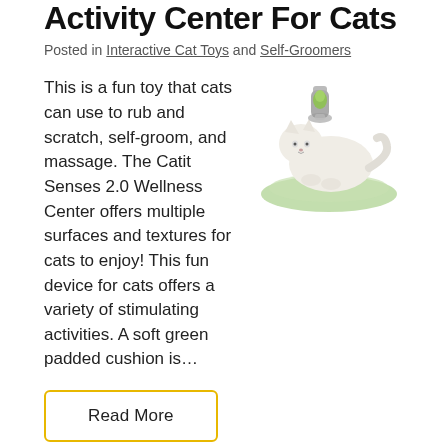Activity Center For Cats
Posted in Interactive Cat Toys and Self-Groomers
This is a fun toy that cats can use to rub and scratch, self-groom, and massage. The Catit Senses 2.0 Wellness Center offers multiple surfaces and textures for cats to enjoy! This fun device for cats offers a variety of stimulating activities. A soft green padded cushion is…
[Figure (illustration): Illustration of a white cat lying on a green cushion with a grooming brush attachment]
Read More
Review: Self-Grooming Arch Brush for Cats